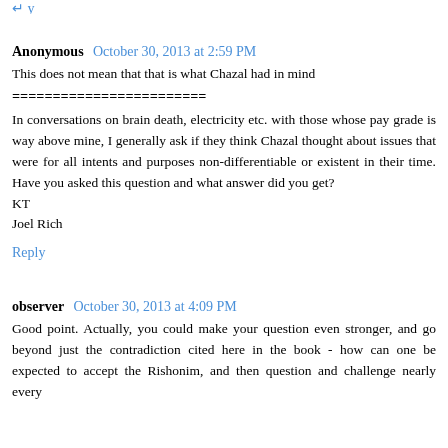Reply (clipped at top)
Anonymous  October 30, 2013 at 2:59 PM
This does not mean that that is what Chazal had in mind
========================
In conversations on brain death, electricity etc. with those whose pay grade is way above mine, I generally ask if they think Chazal thought about issues that were for all intents and purposes non-differentiable or existent in their time. Have you asked this question and what answer did you get?
KT
Joel Rich
Reply
observer  October 30, 2013 at 4:09 PM
Good point. Actually, you could make your question even stronger, and go beyond just the contradiction cited here in the book - how can one be expected to accept the Rishonim, and then question and challenge nearly every